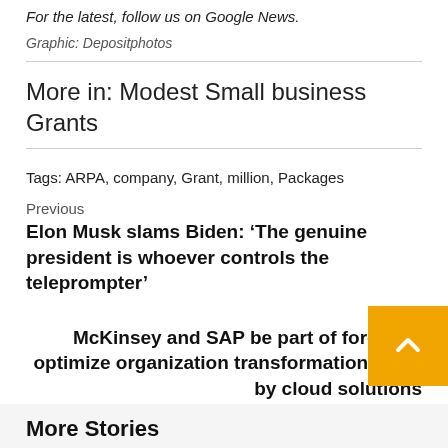For the latest, follow us on Google News.
Graphic: Depositphotos
More in: Modest Small business Grants
Tags: ARPA, company, Grant, million, Packages
Previous
Elon Musk slams Biden: ‘The genuine president is whoever controls the teleprompter’
Next
McKinsey and SAP be part of forces to optimize organization transformation value by cloud solutions
More Stories